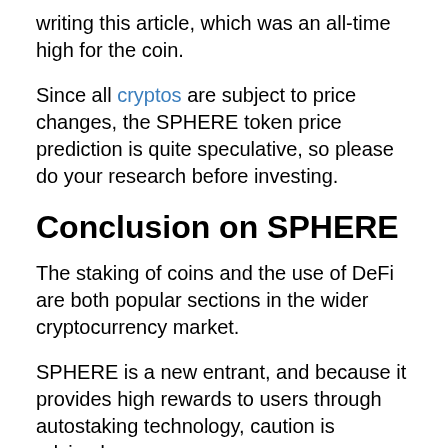writing this article, which was an all-time high for the coin.
Since all cryptos are subject to price changes, the SPHERE token price prediction is quite speculative, so please do your research before investing.
Conclusion on SPHERE
The staking of coins and the use of DeFi are both popular sections in the wider cryptocurrency market.
SPHERE is a new entrant, and because it provides high rewards to users through autostaking technology, caution is advised.
Got an NFT or crypto project you want to share? Message NFT Bullhorn below. If a post/article is padi/promoted/sponsored, we'll state as such. However, the post above is not a paid/promoted/sponsored post. Opinions and